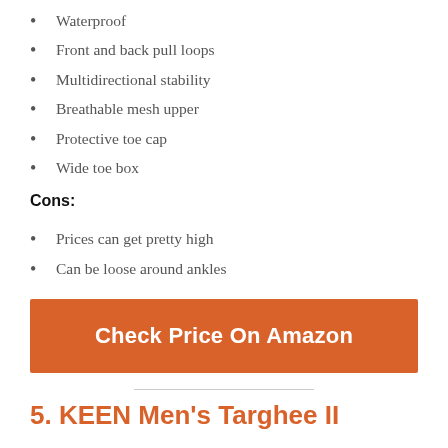Waterproof
Front and back pull loops
Multidirectional stability
Breathable mesh upper
Protective toe cap
Wide toe box
Cons:
Prices can get pretty high
Can be loose around ankles
Check Price On Amazon
5. KEEN Men's Targhee II